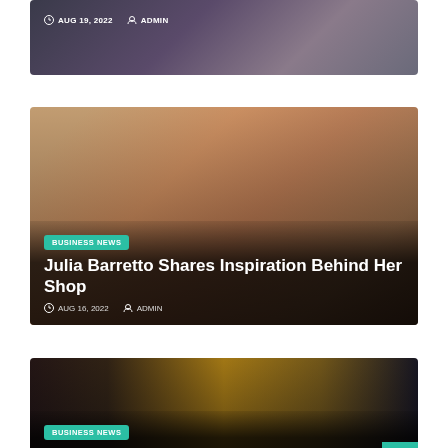[Figure (photo): Cropped top of article card showing two people, date AUG 19, 2022 and ADMIN meta]
AUG 19, 2022  ADMIN
[Figure (photo): Article card with woman in a shop background, BUSINESS NEWS badge, title Julia Barretto Shares Inspiration Behind Her Shop, date AUG 16, 2022 and ADMIN]
BUSINESS NEWS
Julia Barretto Shares Inspiration Behind Her Shop
AUG 16, 2022  ADMIN
[Figure (photo): Article card with golden light library background, BUSINESS NEWS badge, title Understanding the Importance of a Good Book]
BUSINESS NEWS
Understanding the Importance of a Good Book